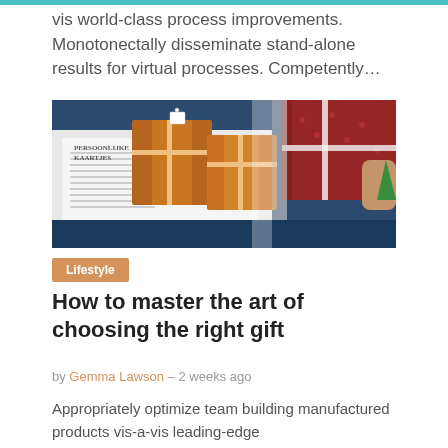vis world-class process improvements. Monotonectally disseminate stand-alone results for virtual processes. Competently…
[Figure (photo): Open magazine or catalog showing gift-wrapped brown packages with ribbon on a patterned surface, with a Christmas tree visible in the background]
Lifestyle
How to master the art of choosing the right gift
by Gemma Lawson – 2 weeks ago
Appropriately optimize team building manufactured products vis-a-vis leading-edge